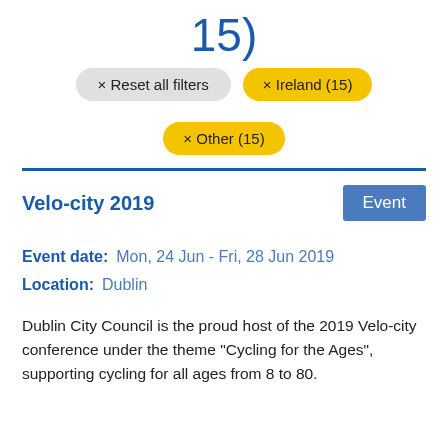15)
× Reset all filters
× Ireland (15)
× Other (15)
Velo-city 2019
Event date:   Mon, 24 Jun - Fri, 28 Jun 2019
Location:   Dublin
Dublin City Council is the proud host of the 2019 Velo-city conference under the theme "Cycling for the Ages", supporting cycling for all ages from 8 to 80.